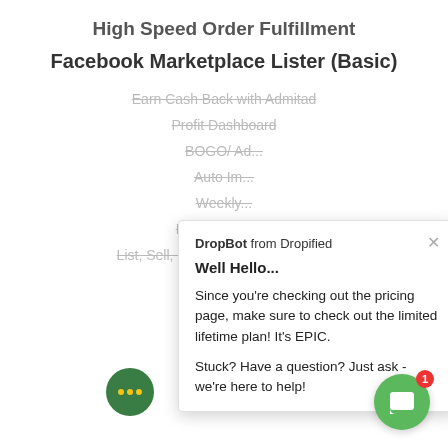High Speed Order Fulfillment
Facebook Marketplace Lister (Basic)
Earn Cash Back with Admitad
Profit Dashboard
BOGO/ Ad...
Auto Im...
Weekly...
Print On Dem...
List, Sell, Sync & Manage on eBay
DropBot from Dropified

Well Hello...

Since you're checking out the pricing page, make sure to check out the limited lifetime plan! It's EPIC.

Stuck? Have a question? Just ask - we're here to help!